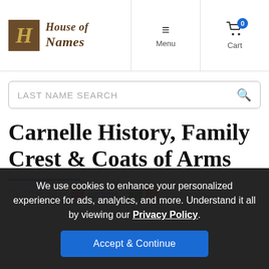[Figure (logo): House of Names logo with ornate H lettermark in brown/gold box and gothic serif text]
[Figure (screenshot): Navigation menu icon (hamburger) with Menu label]
[Figure (screenshot): Shopping cart icon with badge showing 0 and Cart label]
[Figure (screenshot): Last Name Search input box with magnifying glass icon]
Carnelle History, Family Crest & Coats of Arms
We use cookies to enhance your personalized experience for ads, analytics, and more. Understand it all by viewing our Privacy Policy.
Accept & Continue